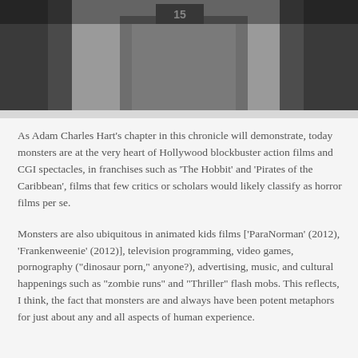[Figure (photo): Black and white photograph showing what appears to be a doorway or architectural structure, partially visible at the top of the page]
As Adam Charles Hart's chapter in this chronicle will demonstrate, today monsters are at the very heart of Hollywood blockbuster action films and CGI spectacles, in franchises such as 'The Hobbit' and 'Pirates of the Caribbean', films that few critics or scholars would likely classify as horror films per se.
Monsters are also ubiquitous in animated kids films ['ParaNorman' (2012), 'Frankenweenie' (2012)], television programming, video games, pornography ("dinosaur porn," anyone?), advertising, music, and cultural happenings such as "zombie runs" and "Thriller" flash mobs. This reflects, I think, the fact that monsters are and always have been potent metaphors for just about any and all aspects of human experience.